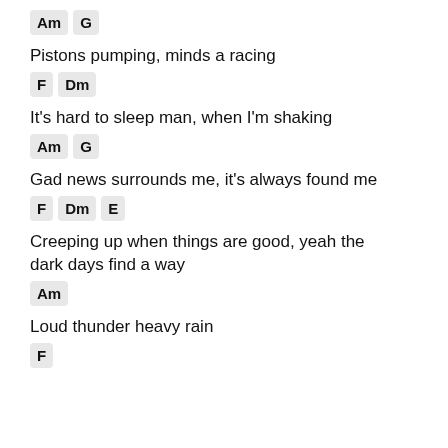[chords: Am G]
Pistons pumping, minds a racing
[chords: F Dm]
It's hard to sleep man, when I'm shaking
[chords: Am G]
Gad news surrounds me, it's always found me
[chords: F Dm E]
Creeping up when things are good, yeah the dark days find a way
[chords: Am]
Loud thunder heavy rain
[chords: F]